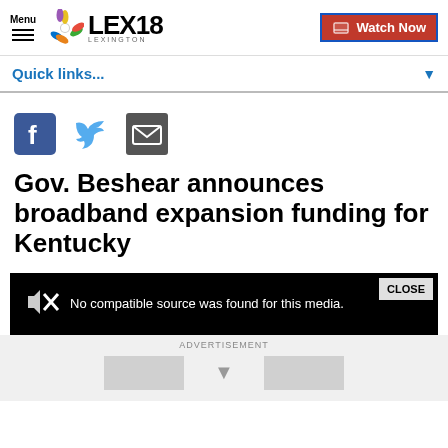Menu | LEX18 LEXINGTON | Watch Now
Quick links...
[Figure (screenshot): Social sharing icons: Facebook, Twitter, Email]
Gov. Beshear announces broadband expansion funding for Kentucky
[Figure (screenshot): Video player showing: No compatible source was found for this media. CLOSE button.]
ADVERTISEMENT